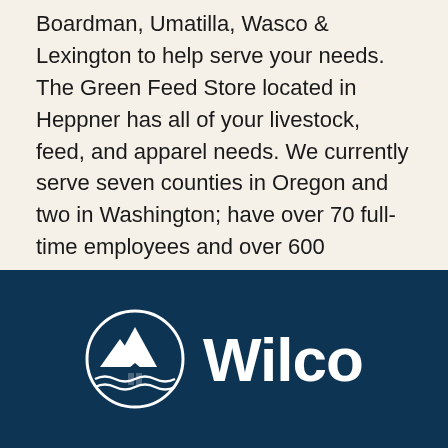Boardman, Umatilla, Wasco & Lexington to help serve your needs. The Green Feed Store located in Heppner has all of your livestock, feed, and apparel needs. We currently serve seven counties in Oregon and two in Washington; have over 70 full-time employees and over 600 cooperative members.
May 6, 2014
Wilco Coop
[Figure (logo): Wilco cooperative logo — circular emblem with white mountain peaks and barn on dark blue background, alongside white 'Wilco' wordmark text]